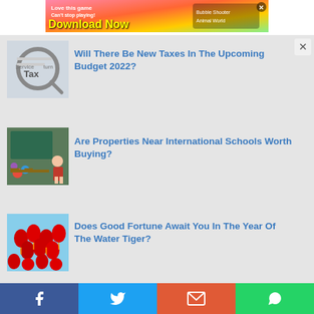[Figure (screenshot): Mobile game advertisement banner — 'Love this game Can't stop playing! Download Now — Bubble Shooter Animal World']
[Figure (photo): Close-up image of a magnifying glass over tax-related document showing words 'Service Tax']
Will There Be New Taxes In The Upcoming Budget 2022?
[Figure (photo): Photo of a student in a classroom with chalkboard]
Are Properties Near International Schools Worth Buying?
[Figure (photo): Photo of red Chinese lanterns against blue sky]
Does Good Fortune Await You In The Year Of The Water Tiger?
[Figure (screenshot): Social sharing footer with Facebook, Twitter, Email, and WhatsApp buttons]